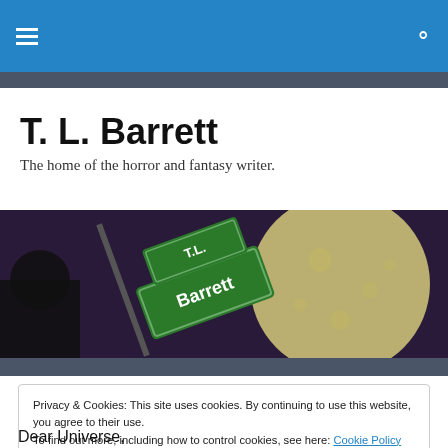T. L. Barrett — navigation bar with hamburger menu and search icon
T. L. Barrett
The home of the horror and fantasy writer.
[Figure (illustration): Header image showing green street signs reading 'T.L. Barrett' against a dark purple background with a large pale moon on the right side]
Privacy & Cookies: This site uses cookies. By continuing to use this website, you agree to their use.
To find out more, including how to control cookies, see here: Cookie Policy
Dear Universe,